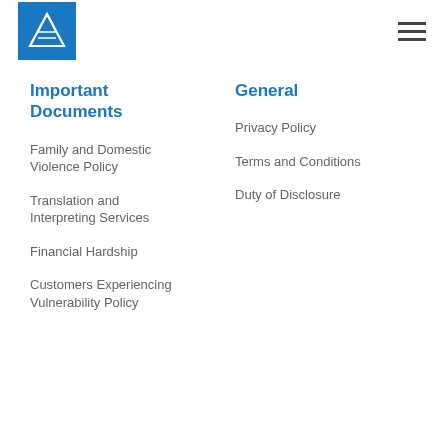[Logo] [Hamburger menu]
Important Documents
Family and Domestic Violence Policy
Translation and Interpreting Services
Financial Hardship
Customers Experiencing Vulnerability Policy
General
Privacy Policy
Terms and Conditions
Duty of Disclosure